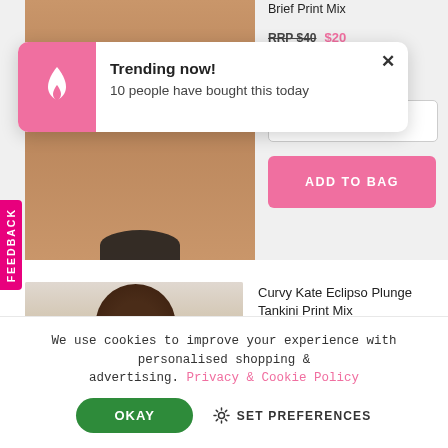Brief Print Mix
[Figure (photo): Close-up of model wearing dark patterned bikini brief, cropped at torso]
[Figure (infographic): Trending now popup with flame icon on pink background. Text: Trending now! 10 people have bought this today. X close button.]
ADD TO BAG
[Figure (photo): Model with curly hair smiling, wearing Curvy Kate Eclipso Plunge Tankini Print Mix]
Curvy Kate Eclipso Plunge Tankini Print Mix
RRP $80  $40
FEEDBACK
We use cookies to improve your experience with personalised shopping & advertising. Privacy & Cookie Policy
OKAY
SET PREFERENCES